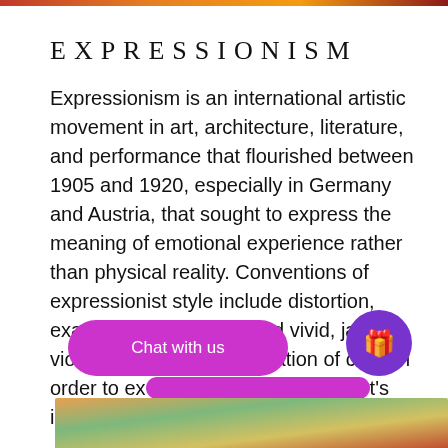[Figure (photo): Colorful expressionist painting strip at top of page]
EXPRESSIONISM
Expressionism is an international artistic movement in art, architecture, literature, and performance that flourished between 1905 and 1920, especially in Germany and Austria, that sought to express the meaning of emotional experience rather than physical reality. Conventions of expressionist style include distortion, exaggeration, fantasy, and vivid, jarring, violent, or dynamic application of color in order to express the artist's inner feelings and ideas.
[Figure (photo): Colorful expressionist painting detail at bottom of page]